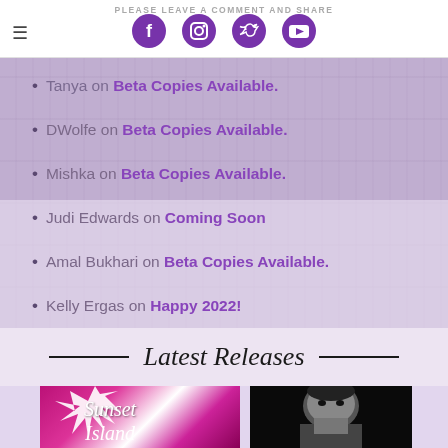PLEASE LEAVE A COMMENT AND SHARE
Tanya on Beta Copies Available.
DWolfe on Beta Copies Available.
Mishka on Beta Copies Available.
Judi Edwards on Coming Soon
Amal Bukhari on Beta Copies Available.
Kelly Ergas on Happy 2022!
Latest Releases
[Figure (photo): Book cover for Sunset Island with pink and white design and script text]
[Figure (photo): Black and white photo of a man's face]